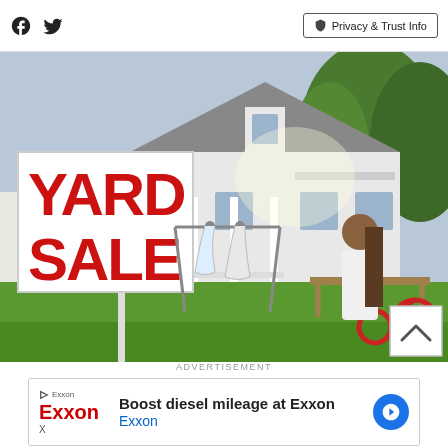Facebook icon, Twitter icon, Privacy & Trust Info
[Figure (photo): Yard sale scene in front of a large white house. A big red 'YARD SALE' sign is prominent on the left. Several people including a woman in dark clothes helping a child in a pink dress, a man in white, and others sorting items on tables and on the grass. Clothes on a rack, a red tricycle, cardboard boxes visible.]
ADVERTISEMENT
[Figure (infographic): Exxon advertisement banner: 'Boost diesel mileage at Exxon' with Exxon logo in red and a blue directional arrow icon on the right.]